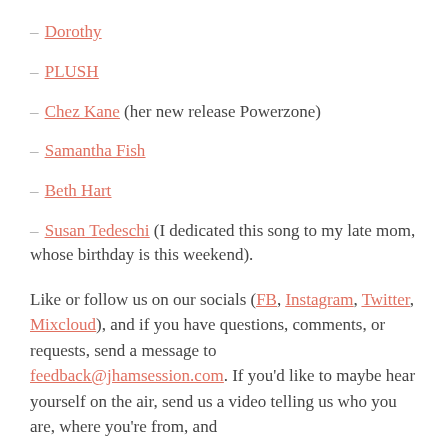– Dorothy
– PLUSH
– Chez Kane (her new release Powerzone)
– Samantha Fish
– Beth Hart
– Susan Tedeschi (I dedicated this song to my late mom, whose birthday is this weekend).
Like or follow us on our socials (FB, Instagram, Twitter, Mixcloud), and if you have questions, comments, or requests, send a message to feedback@jhamsession.com. If you'd like to maybe hear yourself on the air, send us a video telling us who you are, where you're from, and